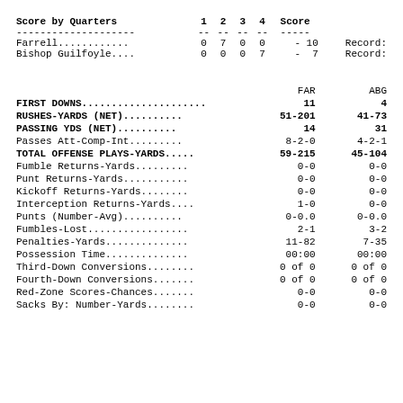| Score by Quarters | 1 | 2 | 3 | 4 | Score |  |
| --- | --- | --- | --- | --- | --- | --- |
| -------------------- | -- | -- | -- | -- | ----- |  |
| Farrell............ | 0 | 7 | 0 | 0 | - 10 | Record: |
| Bishop Guilfoyle.... | 0 | 0 | 0 | 7 | - 7 | Record: |
|  | FAR | ABG |
| --- | --- | --- |
| FIRST DOWNS..................... | 11 | 4 |
| RUSHES-YARDS (NET).......... | 51-201 | 41-73 |
| PASSING YDS (NET).......... | 14 | 31 |
| Passes Att-Comp-Int......... | 8-2-0 | 4-2-1 |
| TOTAL OFFENSE PLAYS-YARDS..... | 59-215 | 45-104 |
| Fumble Returns-Yards......... | 0-0 | 0-0 |
| Punt Returns-Yards........... | 0-0 | 0-0 |
| Kickoff Returns-Yards........ | 0-0 | 0-0 |
| Interception Returns-Yards.... | 1-0 | 0-0 |
| Punts (Number-Avg).......... | 0-0.0 | 0-0.0 |
| Fumbles-Lost................. | 2-1 | 3-2 |
| Penalties-Yards.............. | 11-82 | 7-35 |
| Possession Time.............. | 00:00 | 00:00 |
| Third-Down Conversions........ | 0 of 0 | 0 of 0 |
| Fourth-Down Conversions....... | 0 of 0 | 0 of 0 |
| Red-Zone Scores-Chances....... | 0-0 | 0-0 |
| Sacks By: Number-Yards........ | 0-0 | 0-0 |